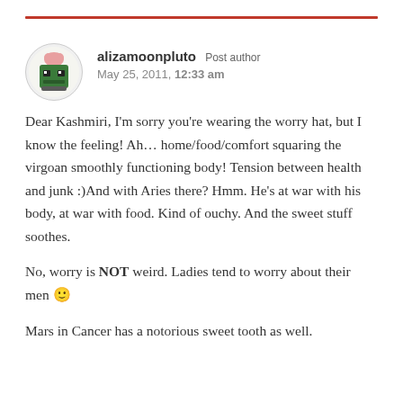alizamoonpluto Post author
May 25, 2011, 12:33 am
Dear Kashmiri, I'm sorry you're wearing the worry hat, but I know the feeling! Ah... home/food/comfort squaring the virgoan smoothly functioning body! Tension between health and junk :)And with Aries there? Hmm. He's at war with his body, at war with food. Kind of ouchy. And the sweet stuff soothes.

No, worry is NOT weird. Ladies tend to worry about their men 🙂

Mars in Cancer has a notorious sweet tooth as well.